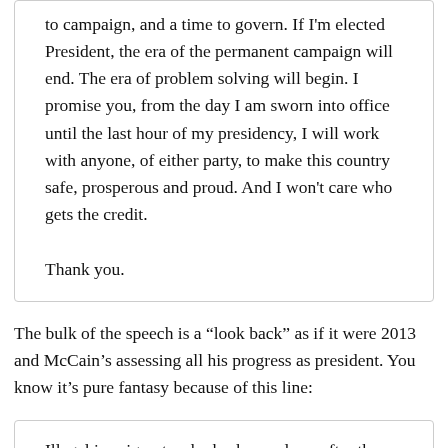to campaign, and a time to govern. If I'm elected President, the era of the permanent campaign will end. The era of problem solving will begin. I promise you, from the day I am sworn into office until the last hour of my presidency, I will work with anyone, of either party, to make this country safe, prosperous and proud. And I won't care who gets the credit.
Thank you.
The bulk of the speech is a “look back” as if it were 2013 and McCain's assessing all his progress as president. You know it’s pure fantasy because of this line:
Illegal immigrants who broke our laws after they came here have been arrested and deported. Illegal